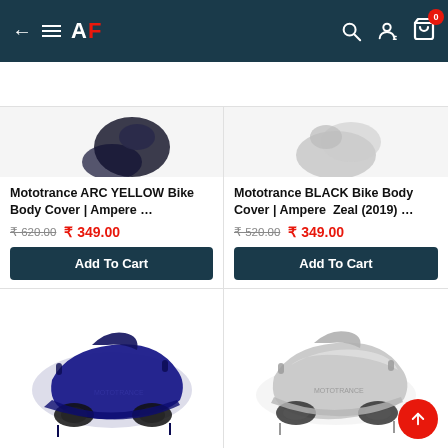AF — Navigation bar with back arrow, hamburger menu, AF logo, search, account, cart (0 items)
Popularity ˅   Filter
Mototrance ARC YELLOW Bike Body Cover | Ampere …
₹620.00  ₹ 349.00
Add To Cart
Mototrance BLACK Bike Body Cover | Ampere  Zeal (2019) …
₹520.00  ₹ 349.00
Add To Cart
[Figure (photo): Navy blue motorcycle/bike body cover product image]
[Figure (photo): Silver/grey motorcycle/bike body cover product image]